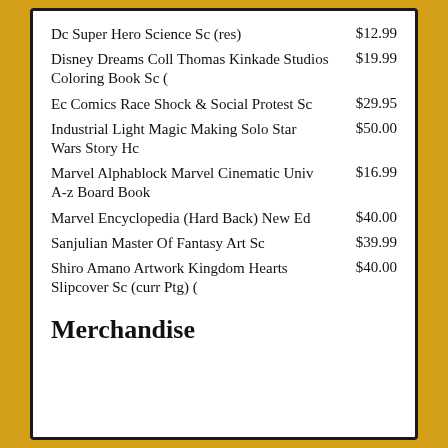Dc Super Hero Science Sc (res) $12.99
Disney Dreams Coll Thomas Kinkade Studios Coloring Book Sc ( $19.99
Ec Comics Race Shock & Social Protest Sc $29.95
Industrial Light Magic Making Solo Star Wars Story Hc $50.00
Marvel Alphablock Marvel Cinematic Univ A-z Board Book $16.99
Marvel Encyclopedia (Hard Back) New Ed $40.00
Sanjulian Master Of Fantasy Art Sc $39.99
Shiro Amano Artwork Kingdom Hearts Slipcover Sc (curr Ptg) ( $40.00
Merchandise